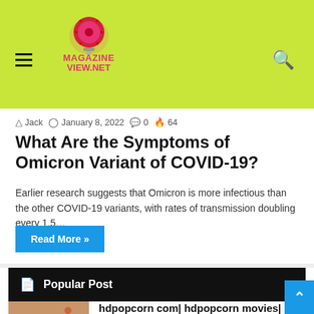MAGAZINE VIEW.NET
Jack  January 8, 2022  0  64
What Are the Symptoms of Omicron Variant of COVID-19?
Earlier research suggests that Omicron is more infectious than the other COVID-19 variants, with rates of transmission doubling every 1.5…
Read More »
Popular Post
hdpopcorn com| hdpopcorn movies| How to Download Movies From HD Popcorns
February 3, 2022